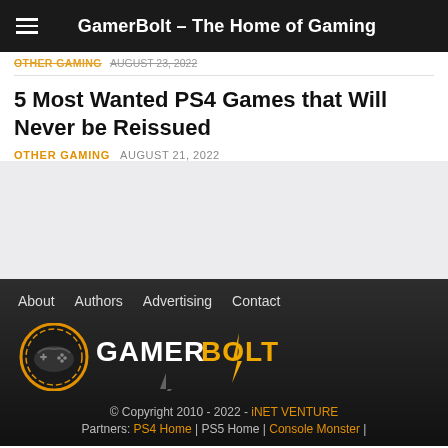GamerBolt – The Home of Gaming
OTHER GAMING   AUGUST 21, 2022
5 Most Wanted PS4 Games that Will Never be Reissued
OTHER GAMING   AUGUST 21, 2022
[Figure (other): Watermark/decorative background with repeated gamepad controller icons in a grid pattern on light grey background]
About   Authors   Advertising   Contact
[Figure (logo): GamerBolt logo: circular gamepad icon with controller and orange ring, followed by GAMERBOLT text with lightning bolt replacing the T, in white and orange on dark background]
© Copyright 2010 - 2022 - iNET VENTURE
Partners: PS4 Home | PS5 Home | Console Monster |